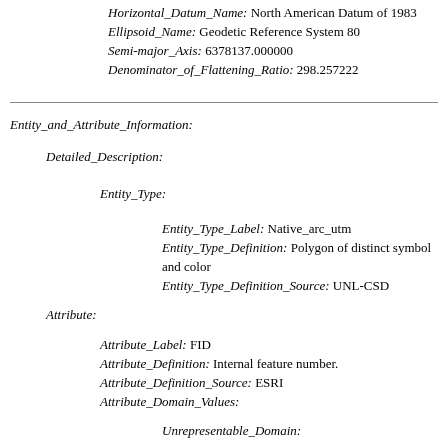Horizontal_Datum_Name: North American Datum of 1983
Ellipsoid_Name: Geodetic Reference System 80
Semi-major_Axis: 6378137.000000
Denominator_of_Flattening_Ratio: 298.257222
Entity_and_Attribute_Information:
Detailed_Description:
Entity_Type:
Entity_Type_Label: Native_arc_utm
Entity_Type_Definition: Polygon of distinct symbol and color
Entity_Type_Definition_Source: UNL-CSD
Attribute:
Attribute_Label: FID
Attribute_Definition: Internal feature number.
Attribute_Definition_Source: ESRI
Attribute_Domain_Values:
Unrepresentable_Domain: